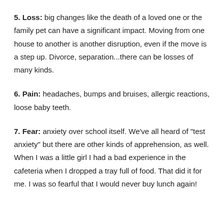5. Loss: big changes like the death of a loved one or the family pet can have a significant impact. Moving from one house to another is another disruption, even if the move is a step up. Divorce, separation...there can be losses of many kinds.
6. Pain: headaches, bumps and bruises, allergic reactions, loose baby teeth.
7. Fear: anxiety over school itself. We've all heard of "test anxiety" but there are other kinds of apprehension, as well. When I was a little girl I had a bad experience in the cafeteria when I dropped a tray full of food. That did it for me. I was so fearful that I would never buy lunch again!